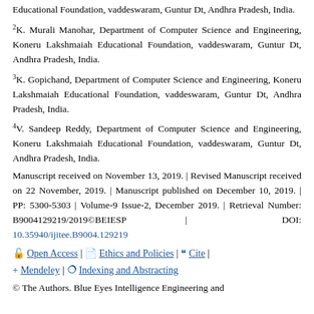Educational Foundation, vaddeswaram, Guntur Dt, Andhra Pradesh, India.
2K. Murali Manohar, Department of Computer Science and Engineering, Koneru Lakshmaiah Educational Foundation, vaddeswaram, Guntur Dt, Andhra Pradesh, India.
3K. Gopichand, Department of Computer Science and Engineering, Koneru Lakshmaiah Educational Foundation, vaddeswaram, Guntur Dt, Andhra Pradesh, India.
4V. Sandeep Reddy, Department of Computer Science and Engineering, Koneru Lakshmaiah Educational Foundation, vaddeswaram, Guntur Dt, Andhra Pradesh, India.
Manuscript received on November 13, 2019. | Revised Manuscript received on 22 November, 2019. | Manuscript published on December 10, 2019. | PP: 5300-5303 | Volume-9 Issue-2, December 2019. | Retrieval Number: B9004129219/2019©BEIESP | DOI: 10.35940/ijitee.B9004.129219
Open Access | Ethics and Policies | Cite | Mendeley | Indexing and Abstracting
© The Authors. Blue Eyes Intelligence Engineering and